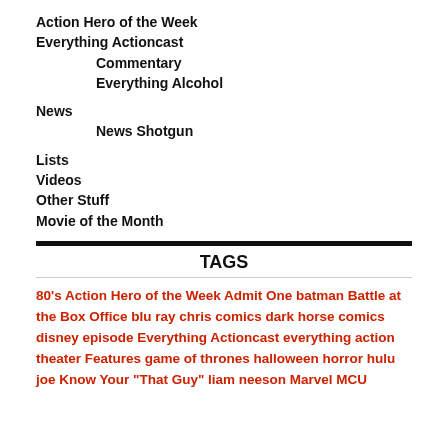Action Hero of the Week
Everything Actioncast
Commentary
Everything Alcohol
News
News Shotgun
Lists
Videos
Other Stuff
Movie of the Month
TAGS
80's Action Hero of the Week Admit One batman Battle at the Box Office blu ray chris comics dark horse comics disney episode Everything Actioncast everything action theater Features game of thrones halloween horror hulu joe Know Your "That Guy" liam neeson Marvel MCU